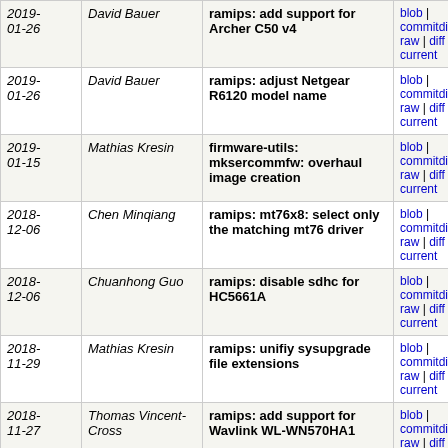| Date | Author | Commit | Links |
| --- | --- | --- | --- |
| 2019-01-26 | David Bauer | ramips: add support for Archer C50 v4 | blob | commitdiff | raw | diff to current |
| 2019-01-26 | David Bauer | ramips: adjust Netgear R6120 model name | blob | commitdiff | raw | diff to current |
| 2019-01-15 | Mathias Kresin | firmware-utils: mksercommfw: overhaul image creation | blob | commitdiff | raw | diff to current |
| 2018-12-06 | Chen Minqiang | ramips: mt76x8: select only the matching mt76 driver | blob | commitdiff | raw | diff to current |
| 2018-12-06 | Chuanhong Guo | ramips: disable sdhc for HC5661A | blob | commitdiff | raw | diff to current |
| 2018-11-29 | Mathias Kresin | ramips: unifiy sysupgrade file extensions | blob | commitdiff | raw | diff to current |
| 2018-11-27 | Thomas Vincent-Cross | ramips: add support for Wavlink WL-WN570HA1 | blob | commitdiff | raw | diff to current |
| 2018-11-26 | Mathias Kresin | ramips: improve Skylab SKW92A support | blob | commitdiff | raw | diff to current |
| 2018-11-26 | Russell Senior | ramips: add support for Skylab SKW92A in EVB | blob | commitdiff | raw | diff to current |
| 2018-11-25 | Daniel Golle | ramips: select kmod-mt76x0e for TP-Link ArcherC20i... | blob | commitdiff | raw | diff to current |
| 2018- | Koen Vandeputte | ramips: fix netgear r6120 | blob | |